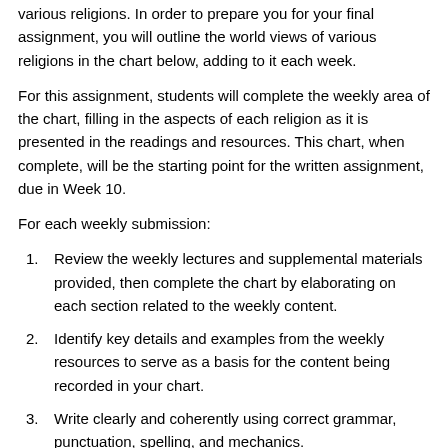various religions. In order to prepare you for your final assignment, you will outline the world views of various religions in the chart below, adding to it each week.
For this assignment, students will complete the weekly area of the chart, filling in the aspects of each religion as it is presented in the readings and resources. This chart, when complete, will be the starting point for the written assignment, due in Week 10.
For each weekly submission:
Review the weekly lectures and supplemental materials provided, then complete the chart by elaborating on each section related to the weekly content.
Identify key details and examples from the weekly resources to serve as a basis for the content being recorded in your chart.
Write clearly and coherently using correct grammar, punctuation, spelling, and mechanics.